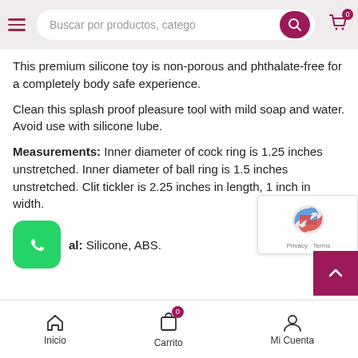Buscar por productos, catego
This premium silicone toy is non-porous and phthalate-free for a completely body safe experience.
Clean this splash proof pleasure tool with mild soap and water. Avoid use with silicone lube.
Measurements: Inner diameter of cock ring is 1.25 inches unstretched. Inner diameter of ball ring is 1.5 inches unstretched. Clit tickler is 2.25 inches in length, 1 inch in width.
Material: Silicone, ABS.
Inicio | Carrito | Mi Cuenta